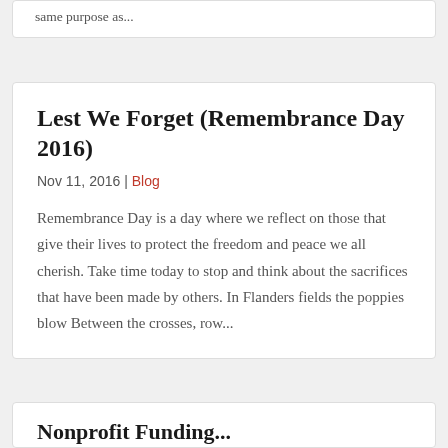same purpose as...
Lest We Forget (Remembrance Day 2016)
Nov 11, 2016 | Blog
Remembrance Day is a day where we reflect on those that give their lives to protect the freedom and peace we all cherish. Take time today to stop and think about the sacrifices that have been made by others. In Flanders fields the poppies blow Between the crosses, row...
Nonprofit Funding...